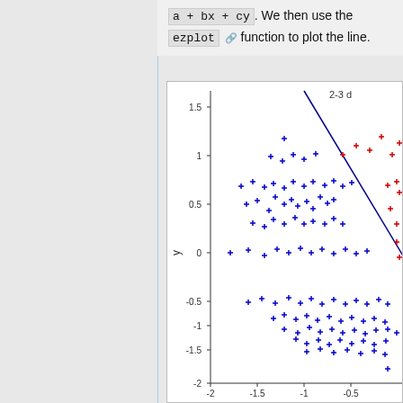a + bx + cy. We then use the ezplot function to plot the line.
[Figure (continuous-plot): Scatter plot showing blue and red cross markers distributed across a 2D space with x and y axes ranging from approximately -2 to 1.5. A diagonal blue line runs from upper middle area toward the right. Red markers appear mostly in the upper-right region. Blue markers are scattered throughout. Y-axis labeled 'y'. X-axis shows values -2, -1.5, -1, -0.5. Title text partially visible: '2-3 d...']